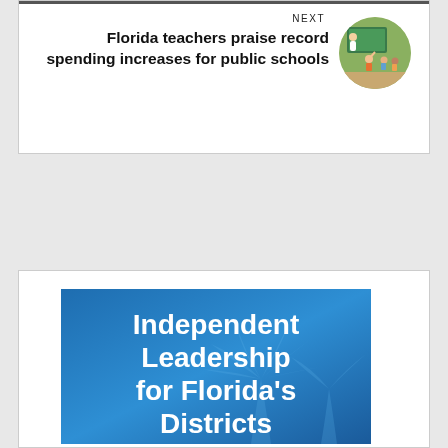NEXT
Florida teachers praise record spending increases for public schools
[Figure (photo): Circular thumbnail photo of a teacher in a classroom with students raising hands]
[Figure (illustration): Blue promotional banner image with white bold text reading 'Independent Leadership for Florida's [Districts]' with palm tree silhouette watermark]